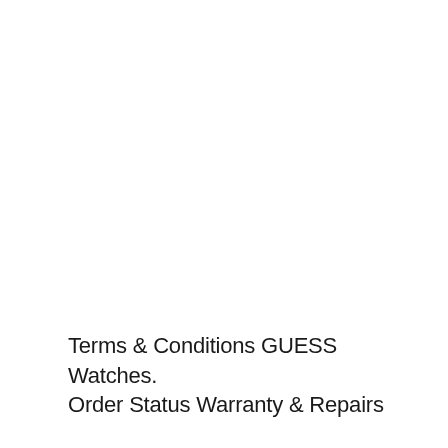Terms & Conditions GUESS Watches. Order Status Warranty & Repairs